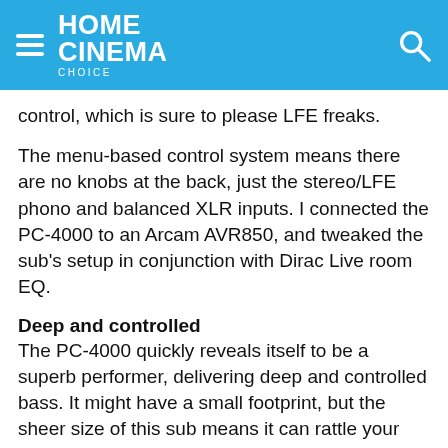HOME CINEMA Choice
control, which is sure to please LFE freaks.
The menu-based control system means there are no knobs at the back, just the stereo/LFE phono and balanced XLR inputs. I connected the PC-4000 to an Arcam AVR850, and tweaked the sub's setup in conjunction with Dirac Live room EQ.
Deep and controlled
The PC-4000 quickly reveals itself to be a superb performer, delivering deep and controlled bass. It might have a small footprint, but the sheer size of this sub means it can rattle your house with room-filling low-frequency energy, delivering bass notes that you feel in your stomach.